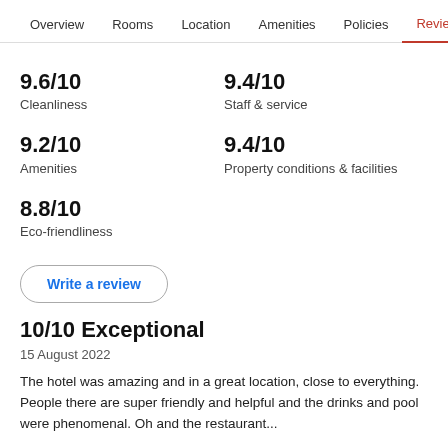Overview  Rooms  Location  Amenities  Policies  Reviews
9.6/10
Cleanliness
9.4/10
Staff & service
9.2/10
Amenities
9.4/10
Property conditions & facilities
8.8/10
Eco-friendliness
Write a review
10/10 Exceptional
15 August 2022
The hotel was amazing and in a great location, close to everything. People there are super friendly and helpful and the drinks and pool were phenomenal. Oh and the restaurant...